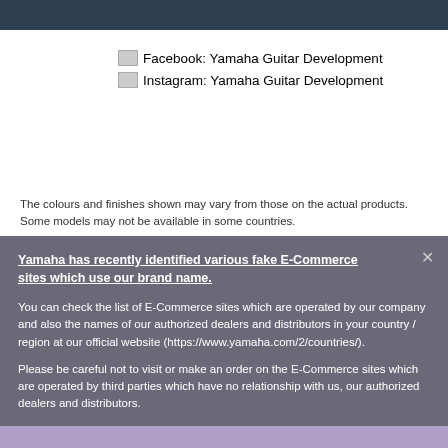Facebook: Yamaha Guitar Development
Instagram: Yamaha Guitar Development
The colours and finishes shown may vary from those on the actual products. Some models may not be available in some countries.
Yamaha has recently identified various fake E-Commerce sites which use our brand name.
You can check the list of E-Commerce sites which are operated by our company and also the names of our authorized dealers and distributors in your country / region at our official website (https://www.yamaha.com/2/countries/).
Please be careful not to visit or make an order on the E-Commerce sites which are operated by third parties which have no relationship with us, our authorized dealers and distributors.